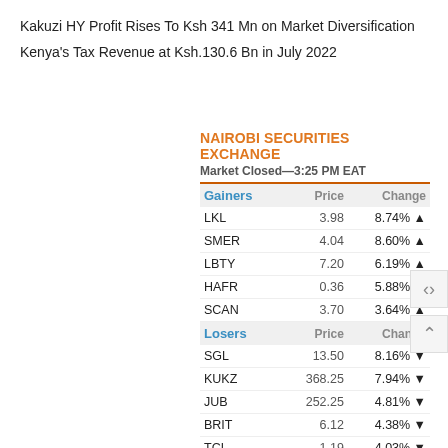Kakuzi HY Profit Rises To Ksh 341 Mn on Market Diversification
Kenya's Tax Revenue at Ksh.130.6 Bn in July 2022
| NAIROBI SECURITIES EXCHANGE
Market Closed—3:25 PM EAT |  |  |
| --- | --- | --- |
| Gainers | Price | Change |
| LKL | 3.98 | 8.74% ▲ |
| SMER | 4.04 | 8.60% ▲ |
| LBTY | 7.20 | 6.19% ▲ |
| HAFR | 0.36 | 5.88% ▲ |
| SCAN | 3.70 | 3.64% ▲ |
| Losers | Price | Change |
| SGL | 13.50 | 8.16% ▼ |
| KUKZ | 368.25 | 7.94% ▼ |
| JUB | 252.25 | 4.81% ▼ |
| BRIT | 6.12 | 4.38% ▼ |
| TCL | 1.19 | 4.03% ▼ |
| Movers | Volume | Mkt.Cap |